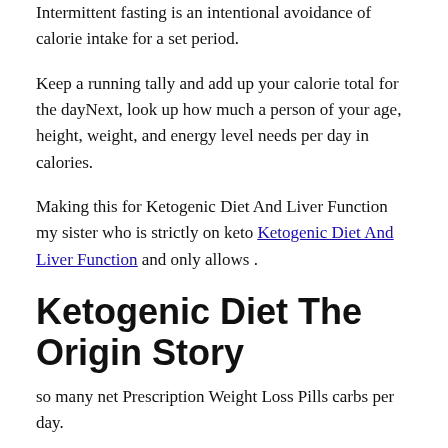Intermittent fasting is an intentional avoidance of calorie intake for a set period.
Keep a running tally and add up your calorie total for the dayNext, look up how much a person of your age, height, weight, and energy level needs per day in calories.
Making this for Ketogenic Diet And Liver Function my sister who is strictly on keto Ketogenic Diet And Liver Function and only allows .
Ketogenic Diet The Origin Story
so many net Prescription Weight Loss Pills carbs per day.
That s why I like the Keto diet jeddah Keto diet, it is so helpfull.